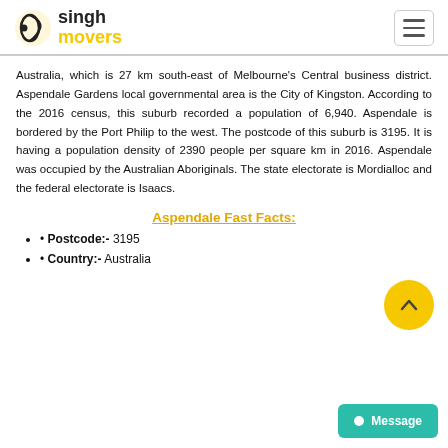singh movers
Australia, which is 27 km south-east of Melbourne's Central business district. Aspendale Gardens local governmental area is the City of Kingston. According to the 2016 census, this suburb recorded a population of 6,940. Aspendale is bordered by the Port Philip to the west. The postcode of this suburb is 3195. It is having a population density of 2390 people per square km in 2016. Aspendale was occupied by the Australian Aboriginals. The state electorate is Mordialloc and the federal electorate is Isaacs.
Aspendale Fast Facts:
Postcode:- 3195
Country:- Australia